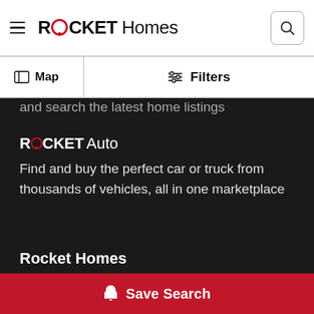ROCKET Homes
Map | Filters
and search the latest home listings
ROCKET Auto
Find and buy the perfect car or truck from thousands of vehicles, all in one marketplace
Rocket Homes
About Us
Press Room
Save Search